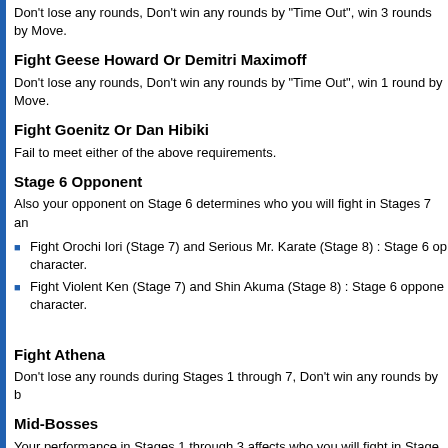Don't lose any rounds, Don't win any rounds by "Time Out", win 3 rounds by Move.
Fight Geese Howard Or Demitri Maximoff
Don't lose any rounds, Don't win any rounds by "Time Out", win 1 round by Move.
Fight Goenitz Or Dan Hibiki
Fail to meet either of the above requirements.
Stage 6 Opponent
Also your opponent on Stage 6 determines who you will fight in Stages 7 an
Fight Orochi Iori (Stage 7) and Serious Mr. Karate (Stage 8) : Stage 6 op character.
Fight Violent Ken (Stage 7) and Shin Akuma (Stage 8) : Stage 6 oppone character.
Fight Athena
Don't lose any rounds during Stages 1 through 7, Don't win any rounds by b
Mid-Bosses
Your performance in Stages 1 through 3 affects who you will fight in Stage 4